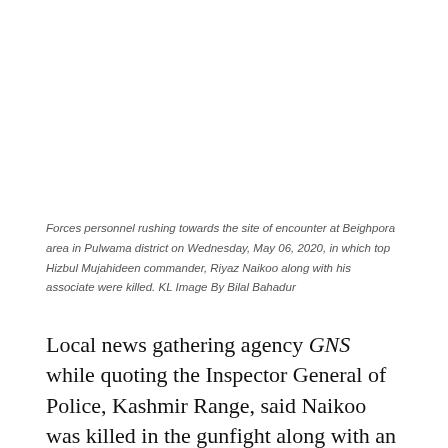Forces personnel rushing towards the site of encounter at Beighpora area in Pulwama district on Wednesday, May 06, 2020, in which top Hizbul Mujahideen commander, Riyaz Naikoo along with his associate were killed. KL Image By Bilal Bahadur
Local news gathering agency GNS while quoting the Inspector General of Police, Kashmir Range, said Naikoo was killed in the gunfight along with an aide. He said the operation was still underway, said the report.